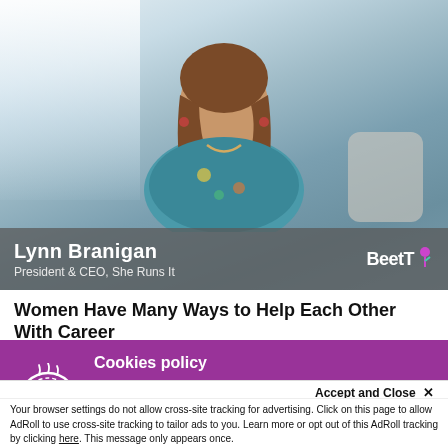[Figure (photo): Video thumbnail showing a woman (Lynn Branigan) seated indoors with a light background, wearing a floral top and necklace. Name bar at bottom reads 'Lynn Branigan, President & CEO, She Runs It' with BeetTV logo.]
Women Have Many Ways to Help Each Other With Career
Cookies policy
Our website uses cookies to analyse how the site is used and to ensure your experience is consistent between visits.
Accept and Close ×
Your browser settings do not allow cross-site tracking for advertising. Click on this page to allow AdRoll to use cross-site tracking to tailor ads to you. Learn more or opt out of this AdRoll tracking by clicking here. This message only appears once.